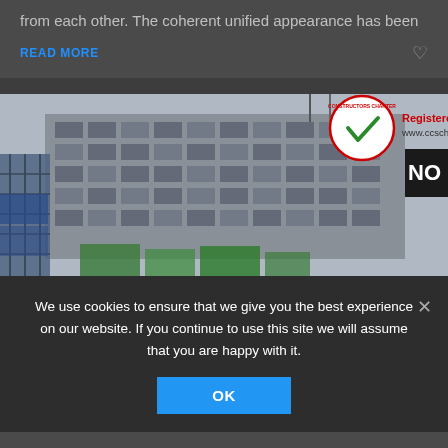from each other. The coherent unified appearance has been
READ MORE
[Figure (photo): Construction site photograph of a multi-story building under renovation/refurbishment with scaffolding, green netting at the base, cranes visible, and a 'Constructors Charter - Registered site www.ccscheme.org.uk' logo in the upper right corner. A 'NO' sign is partially visible on the right edge.]
We use cookies to ensure that we give you the best experience on our website. If you continue to use this site we will assume that you are happy with it.
OK